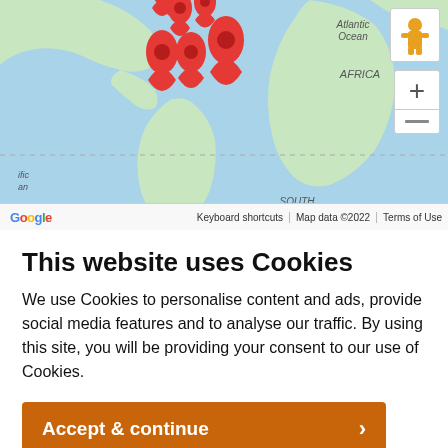[Figure (map): Google Maps showing world map with red location pins clustered in South/Central America region. Map shows Atlantic Ocean, Africa, South America, Indian Ocean labels. Includes Google logo, keyboard shortcuts, map data copyright 2022, Terms of Use footer bar, street view pegman icon, and zoom controls.]
This website uses Cookies
We use Cookies to personalise content and ads, provide social media features and to analyse our traffic. By using this site, you will be providing your consent to our use of Cookies.
Accept & continue ›